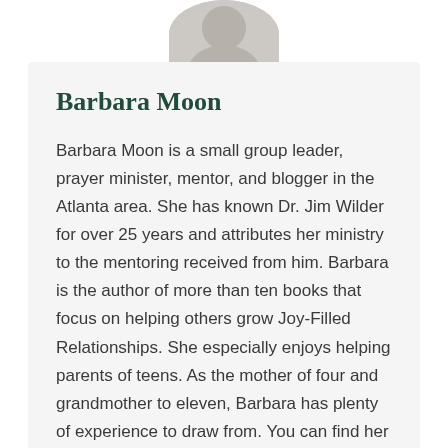[Figure (photo): Circular portrait photo of Barbara Moon, partially cropped at top of page]
Barbara Moon
Barbara Moon is a small group leader, prayer minister, mentor, and blogger in the Atlanta area. She has known Dr. Jim Wilder for over 25 years and attributes her ministry to the mentoring received from him. Barbara is the author of more than ten books that focus on helping others grow Joy-Filled Relationships. She especially enjoys helping parents of teens. As the mother of four and grandmother to eleven, Barbara has plenty of experience to draw from. You can find her other books and blogs on